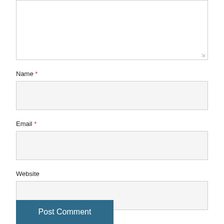[Figure (screenshot): Comment text area (partially visible at top, empty textarea with resize handle)]
Name *
[Figure (screenshot): Name input field (empty text input box)]
Email *
[Figure (screenshot): Email input field (empty text input box)]
Website
[Figure (screenshot): Website input field (empty text input box)]
Post Comment